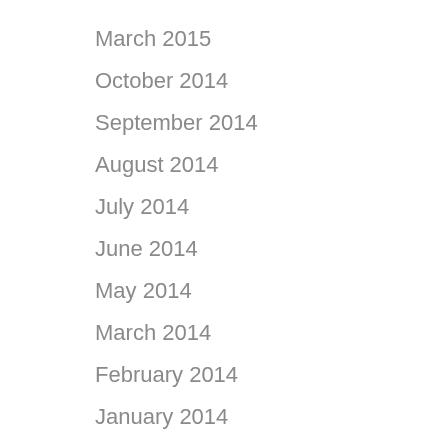March 2015
October 2014
September 2014
August 2014
July 2014
June 2014
May 2014
March 2014
February 2014
January 2014
October 2013
September 2013